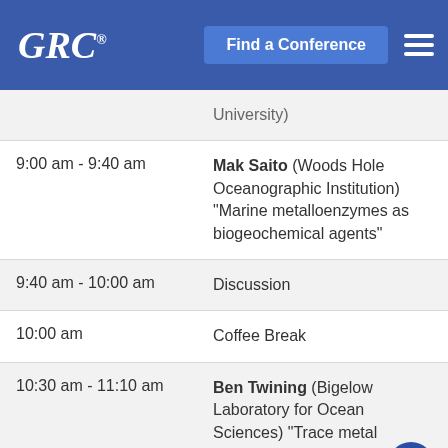GRC® Find a Conference
University)
| Time | Details |
| --- | --- |
| 9:00 am - 9:40 am | Mak Saito (Woods Hole Oceanographic Institution) "Marine metalloenzymes as biogeochemical agents" |
| 9:40 am - 10:00 am | Discussion |
| 10:00 am | Coffee Break |
| 10:30 am - 11:10 am | Ben Twining (Bigelow Laboratory for Ocean Sciences) "Trace metal composition of marine plankton: linking |